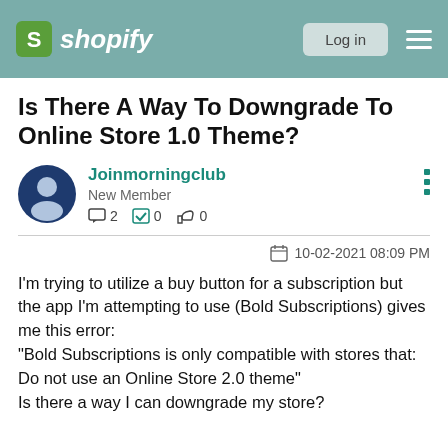shopify | Log in
Is There A Way To Downgrade To Online Store 1.0 Theme?
Joinmorningclub
New Member
2  0  0
10-02-2021 08:09 PM
I'm trying to utilize a buy button for a subscription but the app I'm attempting to use (Bold Subscriptions) gives me this error:
"Bold Subscriptions is only compatible with stores that: Do not use an Online Store 2.0 theme"
Is there a way I can downgrade my store?